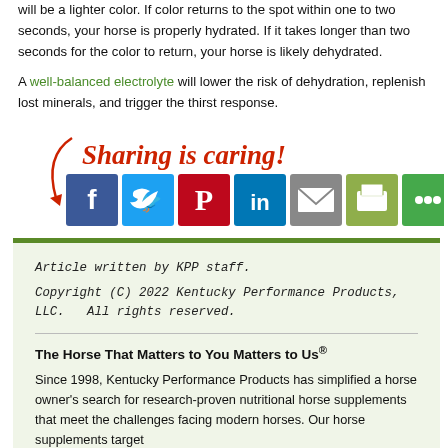will be a lighter color. If color returns to the spot within one to two seconds, your horse is properly hydrated. If it takes longer than two seconds for the color to return, your horse is likely dehydrated.
A well-balanced electrolyte will lower the risk of dehydration, replenish lost minerals, and trigger the thirst response.
[Figure (infographic): Sharing is caring! text in red italic script with a red arrow pointing to social media icons: Facebook, Twitter, Pinterest, LinkedIn, Email, Print, More Options]
Article written by KPP staff.
Copyright (C) 2022 Kentucky Performance Products, LLC.   All rights reserved.
The Horse That Matters to You Matters to Us®
Since 1998, Kentucky Performance Products has simplified a horse owner's search for research-proven nutritional horse supplements that meet the challenges facing modern horses. Our horse supplements target